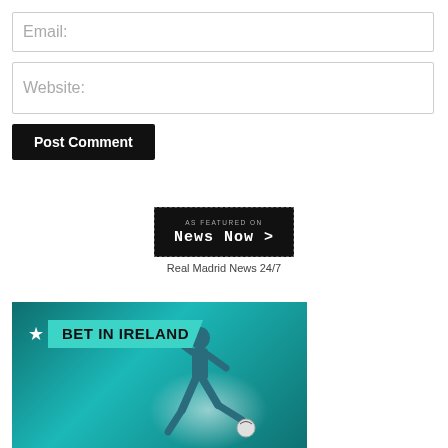Email:
Website:
Post Comment
[Figure (logo): News Now badge — black rectangle with dashed border, text 'AS FEATURED ON' and 'News Now >' in white monospace font]
Real Madrid News 24/7
[Figure (illustration): Bet In Ireland advertisement banner — teal background with a soccer player kicking a ball, star icon and 'BET IN IRELAND' text on a teal ribbon banner]